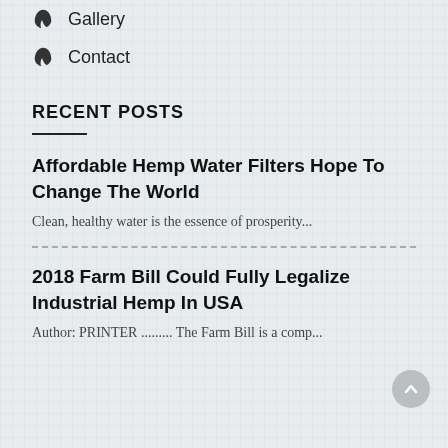Gallery
Contact
RECENT POSTS
Affordable Hemp Water Filters Hope To Change The World
Clean, healthy water is the essence of prosperity...
2018 Farm Bill Could Fully Legalize Industrial Hemp In USA
Author: PRINTER ......... The Farm Bill is...